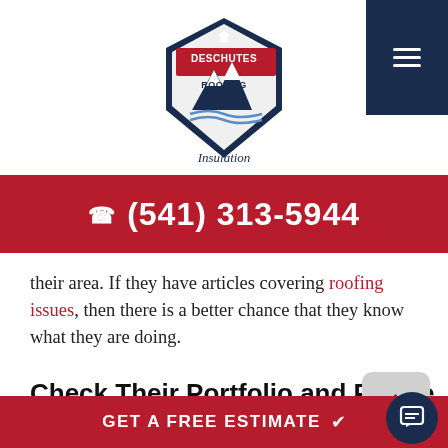[Figure (logo): Deschutes Roofing & Insulation logo — shield/mountain shape with red and navy colors, mountains with snow, text 'DESCHUTES ROOFING & Insulation' in script]
(541) 313-5944
their area. If they have articles covering roofing issues, then there is a better chance that they know what they are doing.
Check Their Portfolio and Profile
You can also check their portfolio to see the type of work they have completed in the past. This will give you an idea of the type of projects they feel comfor
GET A FREE ESTIMATE